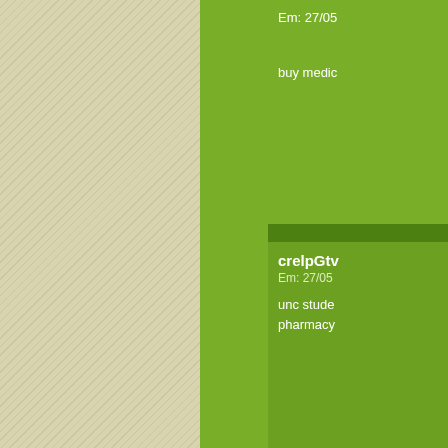[Figure (screenshot): A web page layout showing a green sidebar/content area with beige diagonal-striped background on left and right. On the far right are comment cards with usernames and dates visible (partially cropped): crelpGtv Em: 27/05, unc student pharmacy; diggicy Em: 27/05, online over; crelpHtf Em: 27/05. Top right shows partial card with Em: 27/05 and buy medic text.]